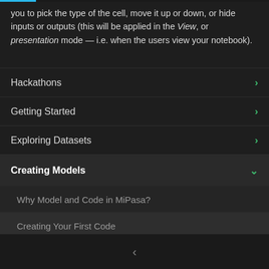you to pick the type of the cell, move it up or down, or hide inputs or outputs (this will be applied in the View, or presentation mode — i.e. when the users view your notebook).
Hackathons
Getting Started
Exploring Datasets
Creating Models
Why Model and Code in MiPasa?
Creating Your First Code
Running Code and Models Against Datasets